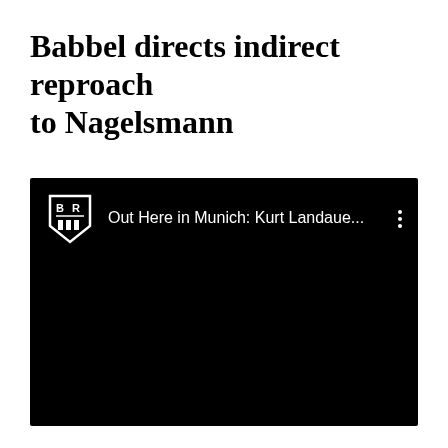Babbel directs indirect reproach to Nagelsmann
[Figure (screenshot): Black video player thumbnail showing B/R (Bleacher Report) logo and title text 'Out Here in Munich: Kurt Landaue...' with a three-dot menu icon on a black background.]